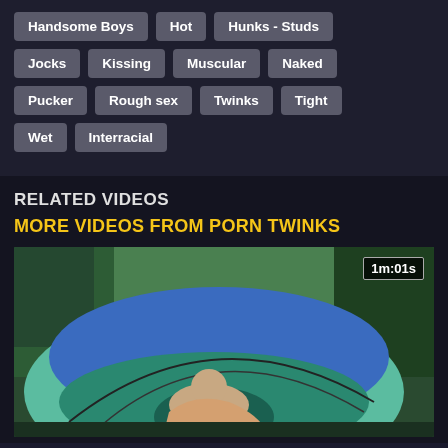Handsome Boys
Hot
Hunks - Studs
Jocks
Kissing
Muscular
Naked
Pucker
Rough sex
Twinks
Tight
Wet
Interracial
RELATED VIDEOS
MORE VIDEOS FROM PORN TWINKS
[Figure (photo): Video thumbnail showing two people near a blue/green camping tent outdoors with trees in the background. Duration badge shows 1m:01s.]